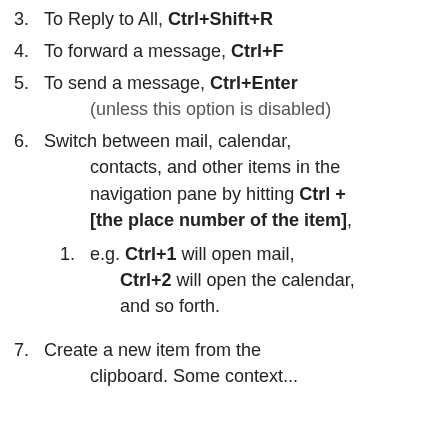To Reply to All, Ctrl+Shift+R
To forward a message, Ctrl+F
To send a message, Ctrl+Enter (unless this option is disabled)
Switch between mail, calendar, contacts, and other items in the navigation pane by hitting Ctrl + [the place number of the item],
e.g. Ctrl+1 will open mail, Ctrl+2 will open the calendar, and so forth.
Create a new item from the clipboard. Some context...